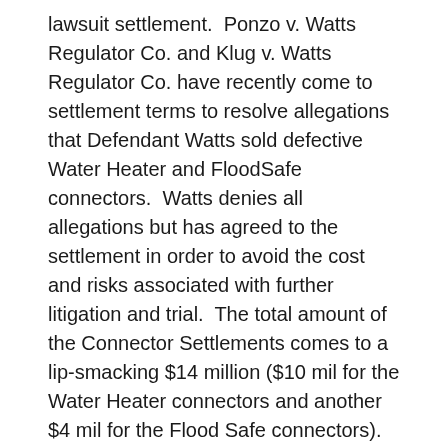lawsuit settlement. Ponzo v. Watts Regulator Co. and Klug v. Watts Regulator Co. have recently come to settlement terms to resolve allegations that Defendant Watts sold defective Water Heater and FloodSafe connectors. Watts denies all allegations but has agreed to the settlement in order to avoid the cost and risks associated with further litigation and trial. The total amount of the Connector Settlements comes to a lip-smacking $14 million ($10 mil for the Water Heater connectors and another $4 mil for the Flood Safe connectors). Class Members who are anxious to claim their rightful piece of the settlement can go to the Connector Settlements page and click the Important Documents tab to find the online claim form.
What else should I know about the Connector Settlements?